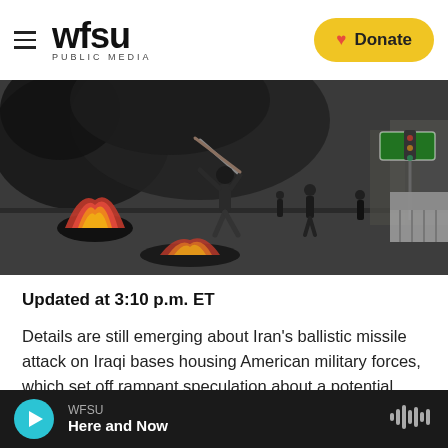WFSU PUBLIC MEDIA
[Figure (photo): Street protest scene with person swinging a stick, burning tires with black smoke, and other figures visible on a city road with buildings in background]
Updated at 3:10 p.m. ET
Details are still emerging about Iran's ballistic missile attack on Iraqi bases housing American military forces, which set off rampant speculation about a potential U.S. response. But President
WFSU Here and Now